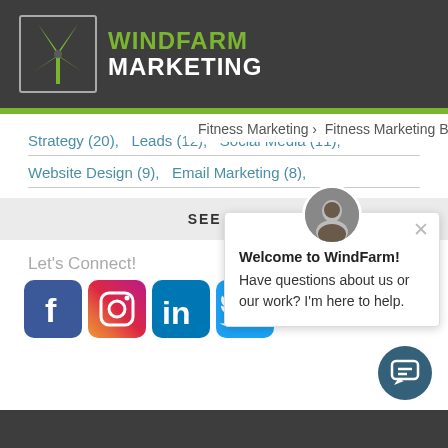[Figure (logo): WindFarm Marketing logo with windmill icon and green/white text on dark gray header bar]
Fitness Marketing › Fitness Marketing Blog
Strategy (20),   Leads (12),  Social Media (11),
Website Design (9),   Email Marketing (8),
SEE ALL
Let's Connect!
[Figure (illustration): Row of four social media icons: Facebook, Instagram, LinkedIn, Twitter]
[Figure (screenshot): Chat popup widget with avatar photo, close button, welcome message: Welcome to WindFarm! Have questions about us or our work? I'm here to help.]
[Figure (illustration): Dark teal circular chat button at bottom right corner]